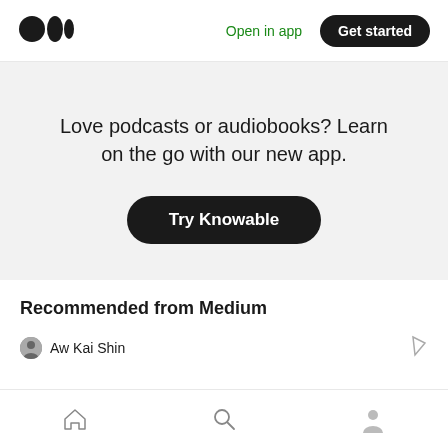Medium logo | Open in app | Get started
Love podcasts or audiobooks? Learn on the go with our new app.
Try Knowable
Recommended from Medium
Aw Kai Shin
Home | Search | Profile